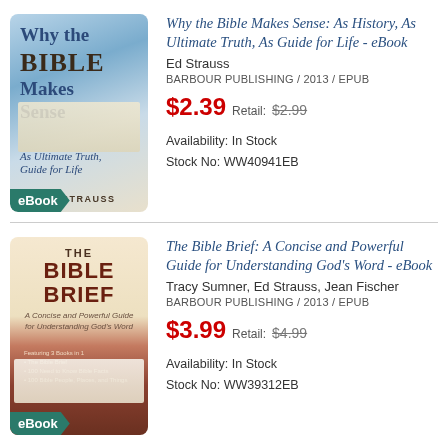[Figure (illustration): Book cover for 'Why the Bible Makes Sense' by Ed Strauss with eBook badge]
Why the Bible Makes Sense: As History, As Ultimate Truth, As Guide for Life - eBook
Ed Strauss
BARBOUR PUBLISHING / 2013 / EPUB
$2.39 Retail: $2.99
Availability: In Stock
Stock No: WW40941EB
[Figure (illustration): Book cover for 'The Bible Brief: A Concise and Powerful Guide for Understanding God's Word' with eBook badge]
The Bible Brief: A Concise and Powerful Guide for Understanding God's Word - eBook
Tracy Sumner, Ed Strauss, Jean Fischer
BARBOUR PUBLISHING / 2013 / EPUB
$3.99 Retail: $4.99
Availability: In Stock
Stock No: WW39312EB